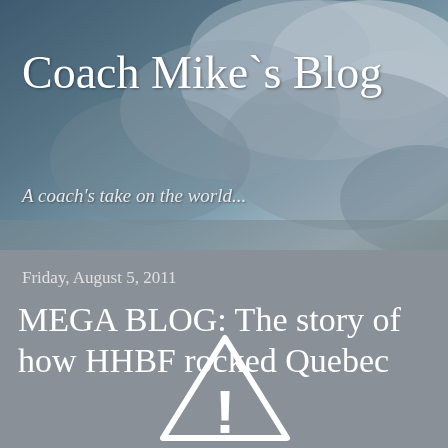Coach Mike`s Blog
A coach's take on the world...
Friday, August 5, 2011
MEGA BLOG: The story of how HHBF rocked Quebec
[Figure (illustration): Warning triangle icon with exclamation mark]